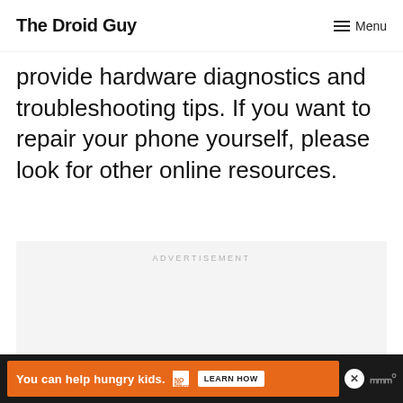The Droid Guy
provide hardware diagnostics and troubleshooting tips. If you want to repair your phone yourself, please look for other online resources.
[Figure (other): Advertisement placeholder box with 'ADVERTISEMENT' label and three navigation dots at bottom]
[Figure (other): Bottom advertisement bar: dark background with orange 'You can help hungry kids.' ad with No Kid Hungry branding and LEARN HOW button, close X button, and W logo]